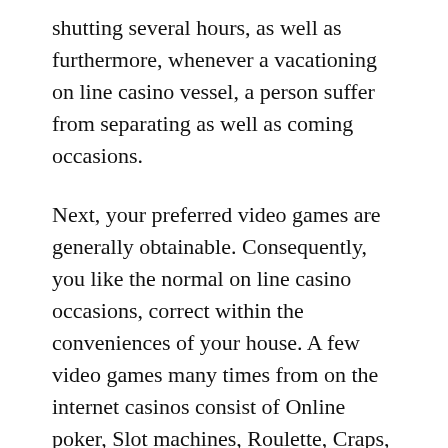shutting several hours, as well as furthermore, whenever a vacationing on line casino vessel, a person suffer from separating as well as coming occasions.
Next, your preferred video games are generally obtainable. Consequently, you like the normal on line casino occasions, correct within the conveniences of your house. A few video games many times from on the internet casinos consist of Online poker, Slot machines, Roulette, Craps, Blackjack, as well as Baccarat. An additional best part concerning the on the internet variations as opposed to the actual traditional variations is actually that you simply steer clear of the crowds of people. Lots of people don’t like to cope with the actual big crowds of people for the most part property casinos. From a good on the internet on line casino, a person steer clear of the crowds of